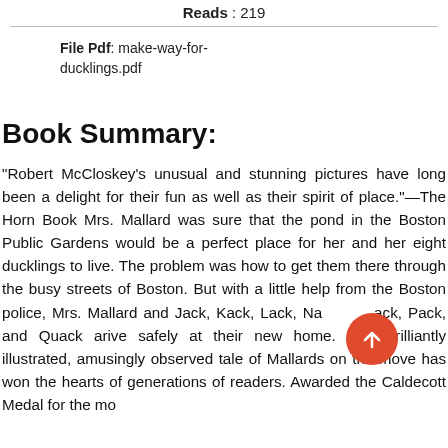Reads : 219
File Pdf: make-way-for-ducklings.pdf
Book Summary:
"Robert McCloskey's unusual and stunning pictures have long been a delight for their fun as well as their spirit of place."—The Horn Book Mrs. Mallard was sure that the pond in the Boston Public Gardens would be a perfect place for her and her eight ducklings to live. The problem was how to get them there through the busy streets of Boston. But with a little help from the Boston police, Mrs. Mallard and Jack, Kack, Lack, Nack, Mack, Pack, and Quack arive safely at their new home. This brilliantly illustrated, amusingly observed tale of Mallards on the move has won the hearts of generations of readers. Awarded the Caldecott Medal for the mo